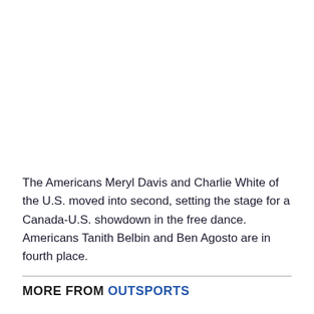The Americans Meryl Davis and Charlie White of the U.S. moved into second, setting the stage for a Canada-U.S. showdown in the free dance. Americans Tanith Belbin and Ben Agosto are in fourth place.
MORE FROM OUTSPORTS